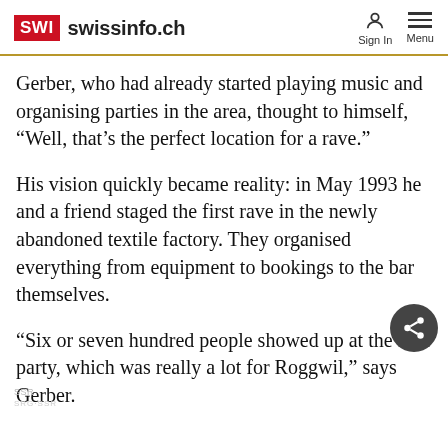SWI swissinfo.ch | Sign In | Menu
Gerber, who had already started playing music and organising parties in the area, thought to himself, “Well, that’s the perfect location for a rave.”
His vision quickly became reality: in May 1993 he and a friend staged the first rave in the newly abandoned textile factory. They organised everything from equipment to bookings to the bar themselves.
“Six or seven hundred people showed up at the first party, which was really a lot for Roggwil,” says Gerber.